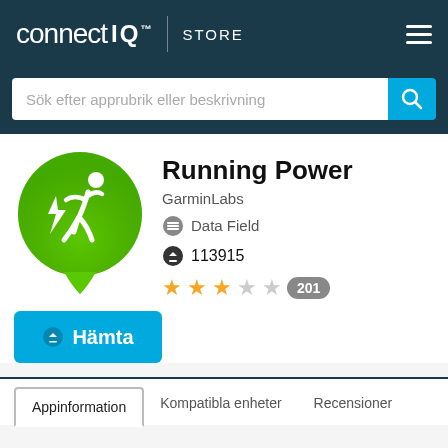connect IQ STORE
Sök efter apprubrik eller beskrivning
[Figure (logo): Running Power app icon: green circle with white running figure and lightning bolts, with a small triangle at the bottom]
Running Power
GarminLabs
Data Field
113915
★★★☆☆ 201
⬇ Hämta
Appinformation	Kompatibla enheter	Recensioner